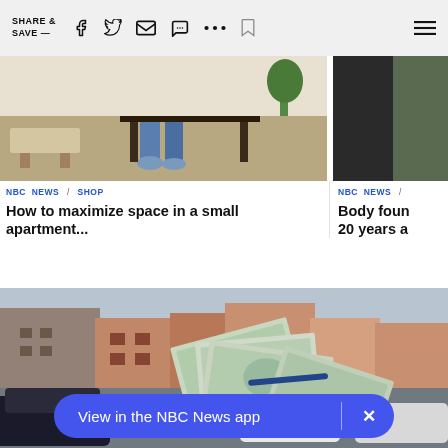SHARE & SAVE —
[Figure (photo): Photo of a small apartment interior with a bench and person sitting at a desk]
[Figure (photo): Partial photo of another article image (cropped on right side)]
NBC NEWS / SHOP
How to maximize space in a small apartment...
NBC NEWS /
Body foun 20 years a
[Figure (photo): Photo of US $100 dollar bills fanned out on what appears to be a car hood, with a street and storefronts in the background]
View in the NBC News app